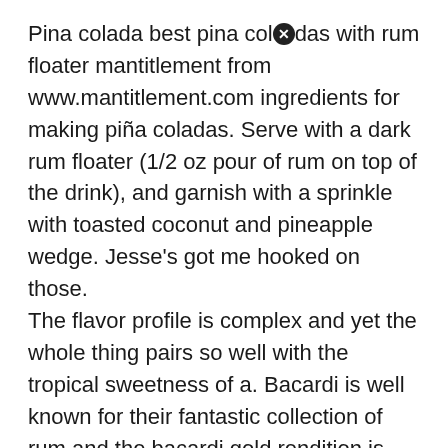Pina colada best pina coladas with rum floater mantitlement from www.mantitlement.com ingredients for making piña coladas. Serve with a dark rum floater (1/2 oz pour of rum on top of the drink), and garnish with a sprinkle with toasted coconut and pineapple wedge. Jesse's got me hooked on those.
The flavor profile is complex and yet the whole thing pairs so well with the tropical sweetness of a. Bacardi is well known for their fantastic collection of rum and the bacardi gold rendition is your perfect pina colada companion. A classic combination that goes back to colonial times.
Best rum for pina colada floater. Top rum for pina